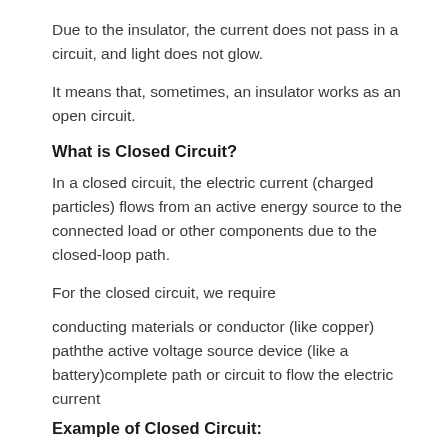Due to the insulator, the current does not pass in a circuit, and light does not glow.
It means that, sometimes, an insulator works as an open circuit.
What is Closed Circuit?
In a closed circuit, the electric current (charged particles) flows from an active energy source to the connected load or other components due to the closed-loop path.
For the closed circuit, we require
conducting materials or conductor (like copper) paththe active voltage source device (like a battery)complete path or circuit to flow the electric current
Example of Closed Circuit: